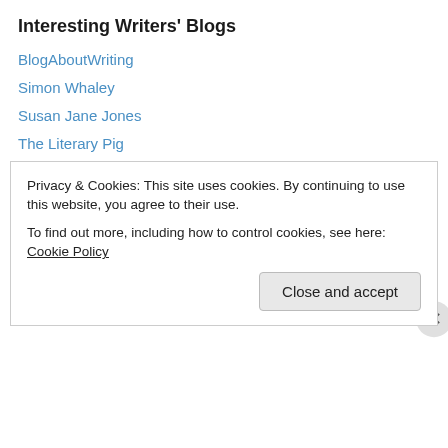Interesting Writers' Blogs
BlogAboutWriting
Simon Whaley
Susan Jane Jones
The Literary Pig
Womag Writer's Blog
Categories
Privacy & Cookies: This site uses cookies. By continuing to use this website, you agree to their use.
To find out more, including how to control cookies, see here: Cookie Policy
Close and accept